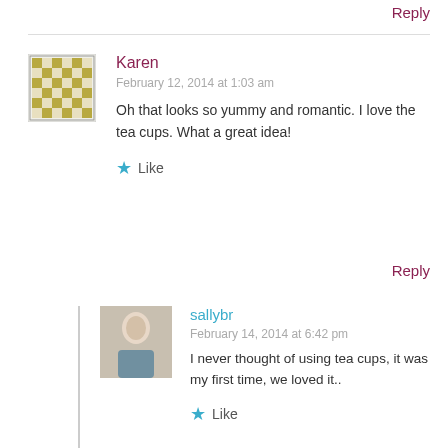Reply
Karen
February 12, 2014 at 1:03 am
Oh that looks so yummy and romantic. I love the tea cups. What a great idea!
Like
Reply
sallybr
February 14, 2014 at 6:42 pm
I never thought of using tea cups, it was my first time, we loved it..
Like